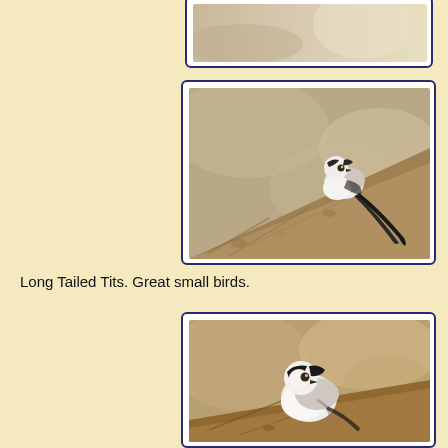[Figure (photo): Partial view of a long-tailed tit bird photo at top of page, cropped]
[Figure (photo): Long Tailed Tit bird perched on a textured bark/branch diagonal surface, white and grey plumage with long black tail, bokeh background]
Long Tailed Tits. Great small birds.
[Figure (photo): Long Tailed Tit bird perched on a branch, fluffy white and grey-black plumage, warm brown bokeh background, close-up view]